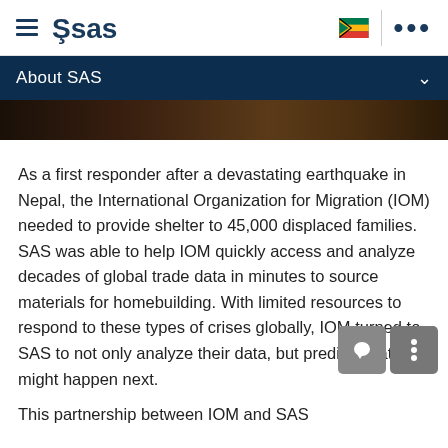SAS navigation header with hamburger menu, SAS logo, South Africa flag, and more options
About SAS
[Figure (photo): Dark banner image, partially visible, showing muted brown tones]
As a first responder after a devastating earthquake in Nepal, the International Organization for Migration (IOM) needed to provide shelter to 45,000 displaced families. SAS was able to help IOM quickly access and analyze decades of global trade data in minutes to source materials for homebuilding. With limited resources to respond to these types of crises globally, IOM turned to SAS to not only analyze their data, but predict what might happen next.
This partnership between IOM and SAS